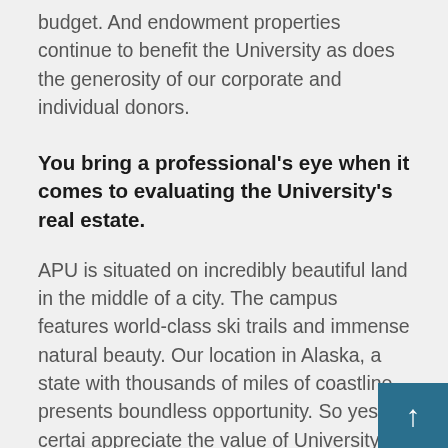budget. And endowment properties continue to benefit the University as does the generosity of our corporate and individual donors.
You bring a professional's eye when it comes to evaluating the University's real estate.
APU is situated on incredibly beautiful land in the middle of a city. The campus features world-class ski trails and immense natural beauty. Our location in Alaska, a state with thousands of miles of coastline, presents boundless opportunity. So yes, I certai appreciate the value of University prop